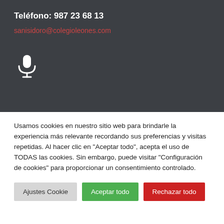Teléfono: 987 23 68 13
sanisidoro@colegioleones.com
[Figure (illustration): White microphone icon on dark background]
Usamos cookies en nuestro sitio web para brindarle la experiencia más relevante recordando sus preferencias y visitas repetidas. Al hacer clic en "Aceptar todo", acepta el uso de TODAS las cookies. Sin embargo, puede visitar "Configuración de cookies" para proporcionar un consentimiento controlado.
Ajustes Cookie | Aceptar todo | Rechazar todo